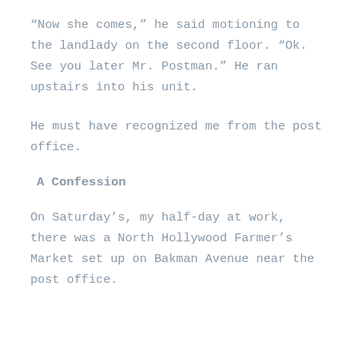“Now she comes,” he said motioning to the landlady on the second floor. “Ok. See you later Mr. Postman.” He ran upstairs into his unit.
He must have recognized me from the post office.
A Confession
On Saturday’s, my half-day at work, there was a North Hollywood Farmer’s Market set up on Bakman Avenue near the post office.